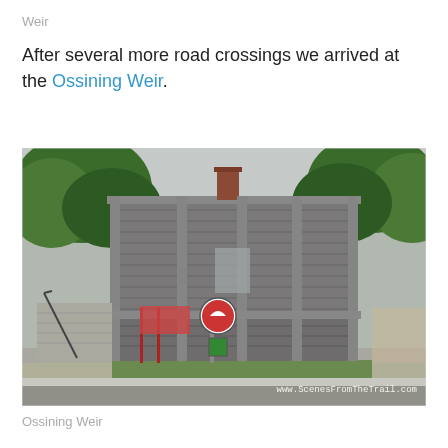Weir
After several more road crossings we arrived at the Ossining Weir.
[Figure (photo): Photograph of the Ossining Weir — a large rectangular stone building with granite block walls, signs in front, staircase with railings on the left, surrounded by trees. Watermark reads www.ScenesFromTheTrail.com]
Ossining Weir